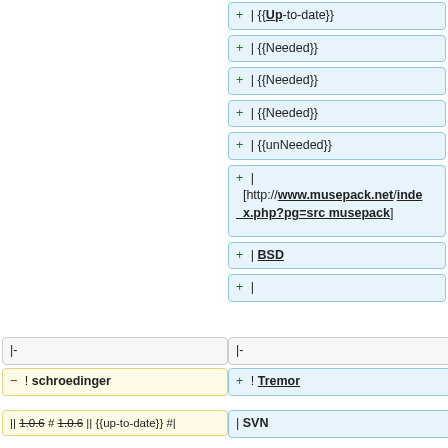+ | {{Up-to-date}}
+ | {{Needed}}
+ | {{Needed}}
+ | {{Needed}}
+ | {{unNeeded}}
+ | [http://www.musepack.net/index.php?pg=src musepack]
+ | BSD
+ |
|-
|-
- ! schroedinger
+ ! Tremor
|| 1.0.6 # 1.0.6 || {{up-to-date}} #|
| SVN